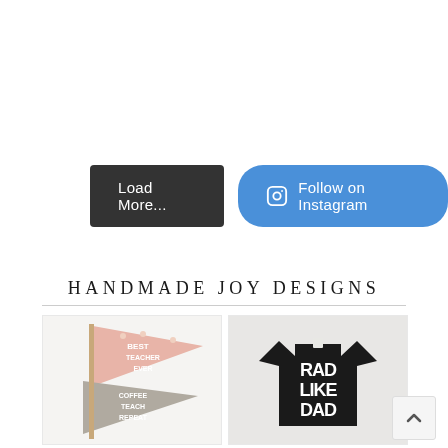[Figure (other): Two buttons side by side: a dark gray 'Load More...' button and a blue rounded 'Follow on Instagram' button with Instagram icon]
HANDMADE JOY DESIGNS
[Figure (photo): Two pennant flags: pink one reading 'BEST TEACHER EVER' with flowers, gray one reading 'COFFEE TEACH REPEAT' with coffee cup icon]
[Figure (photo): Black t-shirt with bold white text reading 'RAD LIKE DAD']